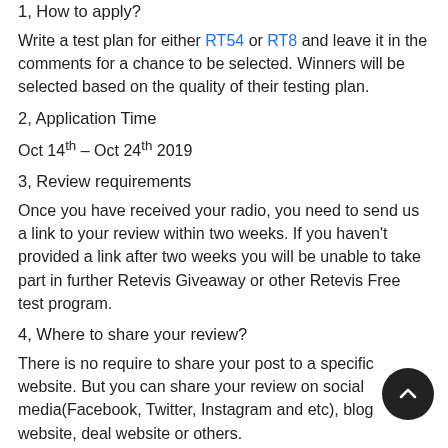1, How to apply?
Write a test plan for either RT54 or RT8 and leave it in the comments for a chance to be selected. Winners will be selected based on the quality of their testing plan.
2, Application Time
Oct 14th – Oct 24th 2019
3, Review requirements
Once you have received your radio, you need to send us a link to your review within two weeks. If you haven't provided a link after two weeks you will be unable to take part in further Retevis Giveaway or other Retevis Free test program.
4, Where to share your review?
There is no require to share your post to a specific website. But you can share your review on social media(Facebook, Twitter, Instagram and etc), blog website, deal website or others.
If you really have no place to share, you can send your reivew to